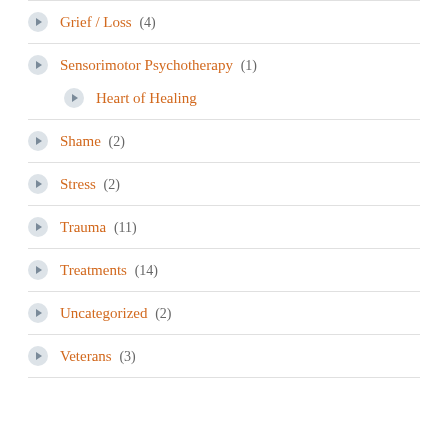Grief / Loss (4)
Sensorimotor Psychotherapy (1)
Heart of Healing
Shame (2)
Stress (2)
Trauma (11)
Treatments (14)
Uncategorized (2)
Veterans (3)